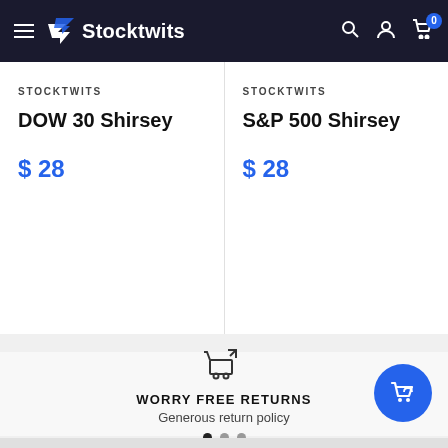[Figure (screenshot): Stocktwits e-commerce website header with hamburger menu, Stocktwits logo, search, account, and cart icons on dark background]
STOCKTWITS
DOW 30 Shirsey
$ 28
STOCKTWITS
S&P 500 Shirsey
$ 28
WORRY FREE RETURNS
Generous return policy